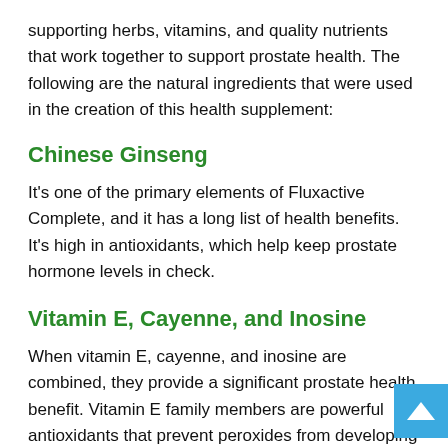supporting herbs, vitamins, and quality nutrients that work together to support prostate health. The following are the natural ingredients that were used in the creation of this health supplement:
Chinese Ginseng
It's one of the primary elements of Fluxactive Complete, and it has a long list of health benefits. It's high in antioxidants, which help keep prostate hormone levels in check.
Vitamin E, Cayenne, and Inosine
When vitamin E, cayenne, and inosine are combined, they provide a significant prostate health benefit. Vitamin E family members are powerful antioxidants that prevent peroxides from developing and causing damage to prostatic tissues. It also reduces inflammation and lowers C-reactive protein and